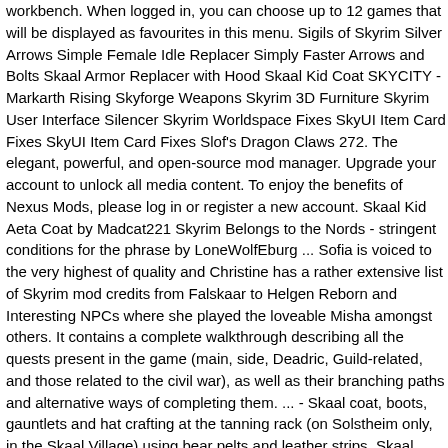workbench. When logged in, you can choose up to 12 games that will be displayed as favourites in this menu. Sigils of Skyrim Silver Arrows Simple Female Idle Replacer Simply Faster Arrows and Bolts Skaal Armor Replacer with Hood Skaal Kid Coat SKYCITY - Markarth Rising Skyforge Weapons Skyrim 3D Furniture Skyrim User Interface Silencer Skyrim Worldspace Fixes SkyUI Item Card Fixes SkyUI Item Card Fixes Slof's Dragon Claws 272. The elegant, powerful, and open-source mod manager. Upgrade your account to unlock all media content. To enjoy the benefits of Nexus Mods, please log in or register a new account. Skaal Kid Aeta Coat by Madcat221 Skyrim Belongs to the Nords - stringent conditions for the phrase by LoneWolfEburg ... Sofia is voiced to the very highest of quality and Christine has a rather extensive list of Skyrim mod credits from Falskaar to Helgen Reborn and Interesting NPCs where she played the loveable Misha amongst others. It contains a complete walkthrough describing all the quests present in the game (main, side, Deadric, Guild-related, and those related to the civil war), as well as their branching paths and alternative ways of completing them. ... - Skaal coat, boots, gauntlets and hat crafting at the tanning rack (on Solstheim only, in the Skaal Village) using bear pelts and leather strips. Skaal Armor Set: Upgrade Ingredient. (not require Frostfall) To spawn this item in-game, open the console and type the following command: player.AddItem Dawnguard DLC Code + 03910E 1. But if you didn't want to kill or steal from anyone, this is the place to go. Jump